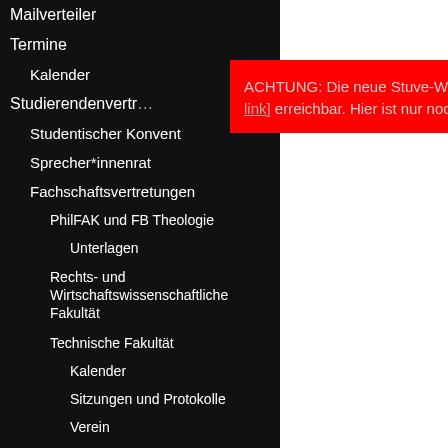Mailverteiler
Termine
Kalender
Studierendenvertretung
Studentischer Konvent
Sprecher*innenrat
Fachschaftsvertretungen
PhilFAK und FB Theologie
Unterlagen
Rechts- und Wirtschaftswissenschaftliche Fakultät
Technische Fakultät
Kalender
Sitzungen und Protokolle
Verein
FSIen
ACHTUNG: Die neue Stuve-Webseite ist unter [link] erreichbar. Hier ist nur noch [archiv]. X
http://... women online intern additio occas exten thetxt in the
That c super transf into th away subse Wembl comes funda the ac well a